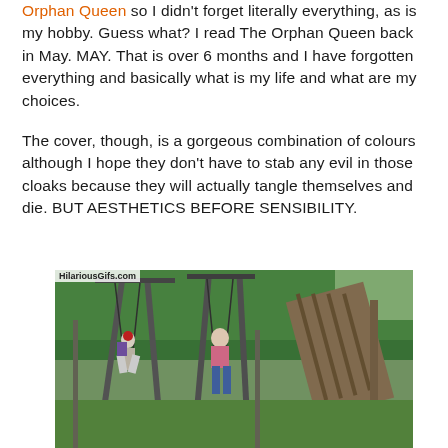Orphan Queen so I didn't forget literally everything, as is my hobby. Guess what? I read The Orphan Queen back in May. MAY. That is over 6 months and I have forgotten everything and basically what is my life and what are my choices.
The cover, though, is a gorgeous combination of colours although I hope they don't have to stab any evil in those cloaks because they will actually tangle themselves and die. BUT AESTHETICS BEFORE SENSIBILITY.
[Figure (photo): Outdoor backyard scene from HilariousGifs.com showing two children on a swing set with a tilted wooden structure/shed in the background and green grass and hedges.]